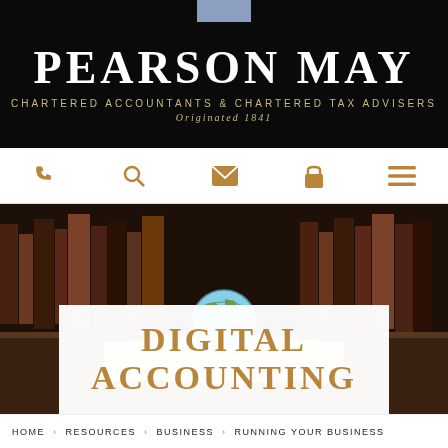PEARSON MAY
CHARTERED ACCOUNTANTS & CHARTERED TAX ADVISERS
Originated 1841
[Figure (screenshot): Navigation bar with gold icons: phone, search, envelope, lock, hamburger menu]
[Figure (photo): Photo of an open book with a globe sitting on top, in front of blurred bookshelves. Overlaid white card with 'DIGITAL ACCOUNTING' text in gold.]
DIGITAL ACCOUNTING
HOME > RESOURCES > BUSINESS > RUNNING YOUR BUSINESS